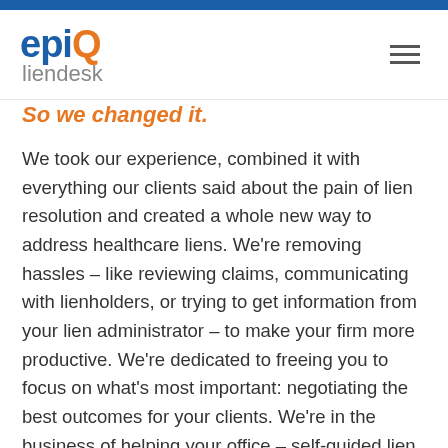epiq liendesk
So we changed it.
We took our experience, combined it with everything our clients said about the pain of lien resolution and created a whole new way to address healthcare liens. We're removing hassles – like reviewing claims, communicating with lienholders, or trying to get information from your lien administrator – to make your firm more productive. We're dedicated to freeing you to focus on what's most important: negotiating the best outcomes for your clients. We're in the business of helping your office – self-guided lien resolution backed by our